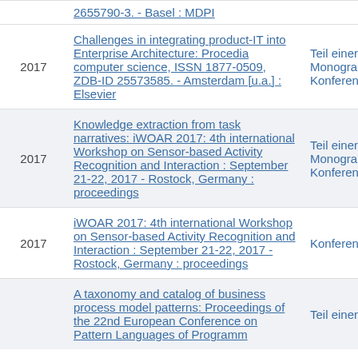| Year | Title | Type |
| --- | --- | --- |
|  | 2655790-3. - Basel : MDPI |  |
| 2017 | Challenges in integrating product-IT into Enterprise Architecture: Procedia computer science, ISSN 1877-0509, ZDB-ID 25573585. - Amsterdam [u.a.] : Elsevier | Teil einer Monograph Konferenzb |
| 2017 | Knowledge extraction from task narratives: iWOAR 2017: 4th international Workshop on Sensor-based Activity Recognition and Interaction : September 21-22, 2017 - Rostock, Germany : proceedings | Teil einer Monograph Konferenzb |
| 2017 | iWOAR 2017: 4th international Workshop on Sensor-based Activity Recognition and Interaction : September 21-22, 2017 - Rostock, Germany : proceedings | Konferenz |
|  | A taxonomy and catalog of business process model patterns: Proceedings of the 22nd European Conference on Pattern Languages of Programm... | Teil einer |